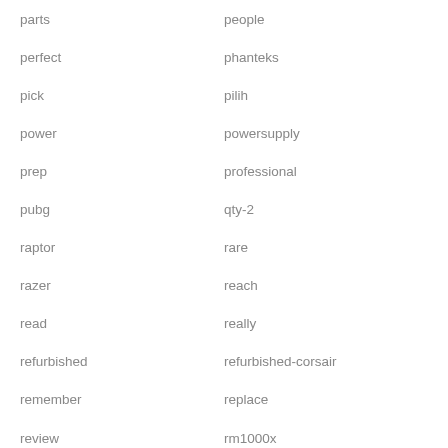parts
people
perfect
phanteks
pick
pilih
power
powersupply
prep
professional
pubg
qty-2
raptor
rare
razer
reach
read
really
refurbished
refurbished-corsair
remember
replace
review
rm1000x
rm750x
rm850
rm850x
ryzen